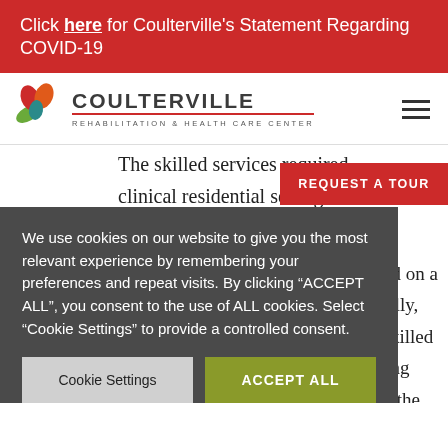Click here for Coulterville’s Statement Regarding COVID-19
[Figure (logo): Coulterville Rehabilitation & Health Care Center logo with stylized flower]
The skilled services required clinical residential setting ce...
REQUEST A TOUR
We use cookies on our website to give you the most relevant experience by remembering your preferences and repeat visits. By clicking “ACCEPT ALL”, you consent to the use of ALL cookies. Select "Cookie Settings" to provide a controlled consent.
e will quired on a cifically, for Skilled nursing 00 of the sible for continue to
Cookie Settings
ACCEPT ALL